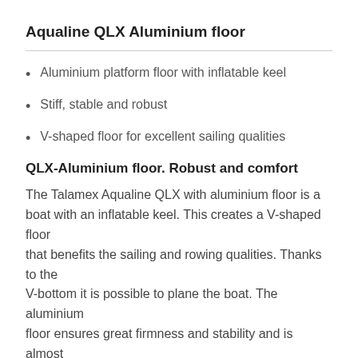Aqualine QLX Aluminium floor
Aluminium platform floor with inflatable keel
Stiff, stable and robust
V-shaped floor for excellent sailing qualities
QLX-Aluminium floor. Robust and comfort
The Talamex Aqualine QLX with aluminium floor is a boat with an inflatable keel. This creates a V-shaped floor
that benefits the sailing and rowing qualities. Thanks to the
V-bottom it is possible to plane the boat. The aluminium
floor ensures great firmness and stability and is almost